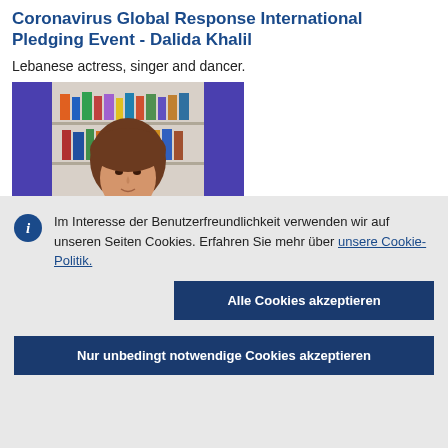Coronavirus Global Response International Pledging Event - Dalida Khalil
Lebanese actress, singer and dancer.
[Figure (photo): Photo of Dalida Khalil, a woman with brown hair, in front of a bookshelf with a blue/purple background]
Im Interesse der Benutzerfreundlichkeit verwenden wir auf unseren Seiten Cookies. Erfahren Sie mehr über unsere Cookie-Politik.
Alle Cookies akzeptieren
Nur unbedingt notwendige Cookies akzeptieren